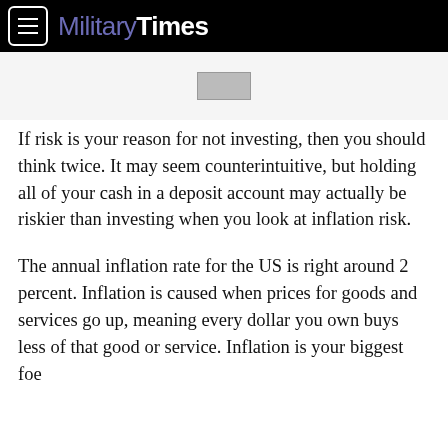Military Times
If risk is your reason for not investing, then you should think twice. It may seem counterintuitive, but holding all of your cash in a deposit account may actually be riskier than investing when you look at inflation risk.
The annual inflation rate for the US is right around 2 percent. Inflation is caused when prices for goods and services go up, meaning every dollar you own buys less of that good or service. Inflation is your biggest foe